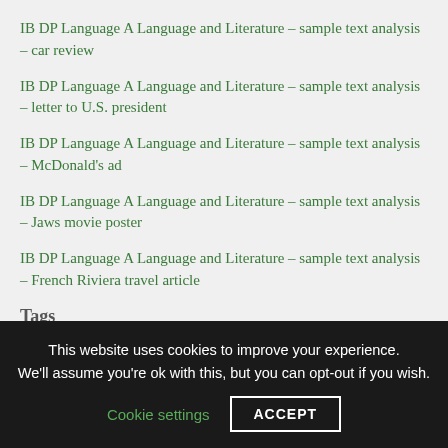IB DP Language A Language and Literature – sample text analysis – car review
IB DP Language A Language and Literature – sample text analysis – letter to U.S. president
IB DP Language A Language and Literature – sample text analysis – McDonald's ad
IB DP Language A Language and Literature – sample text analysis – Jaws movie poster
IB DP Language A Language and Literature – sample text analysis – French Riviera travel article
Tags
This website uses cookies to improve your experience. We'll assume you're ok with this, but you can opt-out if you wish. Cookie settings ACCEPT